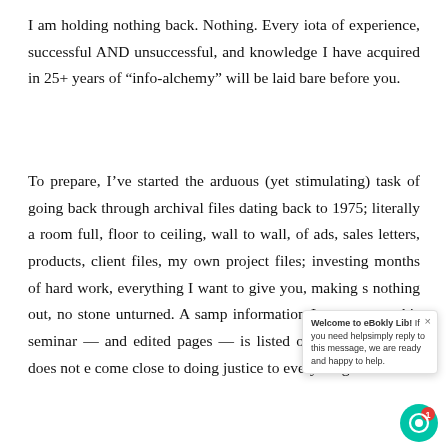I am holding nothing back. Nothing. Every iota of experience, successful AND unsuccessful, and knowledge I have acquired in 25+ years of “info-alchemy” will be laid bare before you.
To prepare, I’ve started the arduous (yet stimulating) task of going back through archival files dating back to 1975; literally a room full, floor to ceiling, wall to wall, of ads, sales letters, products, client files, my own project files; investing months of hard work, everything I want to give you, making s… nothing out, no stone unturned. A samp… information I gave out at this seminar — and edited pages — is listed on this page, but it does not e… come close to doing justice to everything revealed.